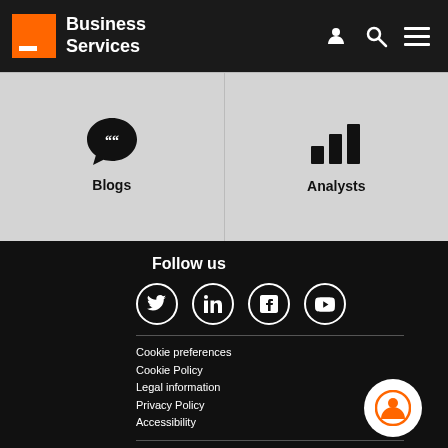Business Services
[Figure (other): Two navigation tiles on grey background: Blogs (speech bubble icon) and Analysts (bar chart icon)]
Follow us
[Figure (other): Social media icons: Twitter, LinkedIn, Facebook, YouTube]
Cookie preferences
Cookie Policy
Legal information
Privacy Policy
Accessibility
Global (Français)
Brazil (Português)